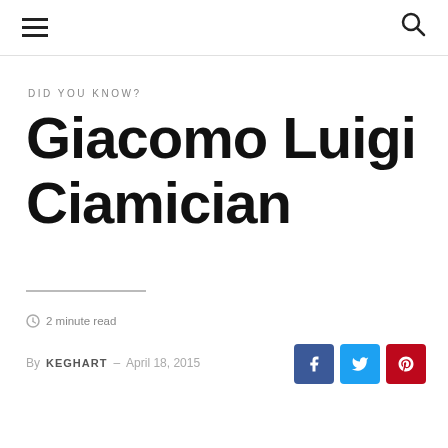☰ [menu icon] | [search icon]
DID YOU KNOW?
Giacomo Luigi Ciamician
2 minute read
By KEGHART – April 18, 2015